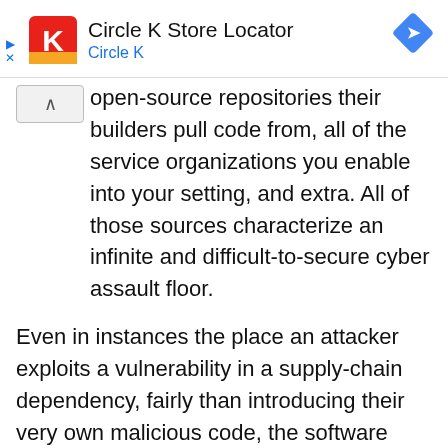[Figure (screenshot): Circle K Store Locator advertisement banner with Circle K logo (red square with white K), title 'Circle K Store Locator', subtitle 'Circle K' in blue, and a blue diamond navigation arrow icon on the right. Small blue triangle and X icons on the left side.]
open-source repositories their builders pull code from, all of the service organizations you enable into your setting, and extra. All of those sources characterize an infinite and difficult-to-secure cyber assault floor.
Even in instances the place an attacker exploits a vulnerability in a supply-chain dependency, fairly than introducing their very own malicious code, the software program provide chain serves as an amplifier. This allows attackers to keep stealthy whereas breaking right into a wider vary of targets, making third-party threat launched by the software program provide chain above